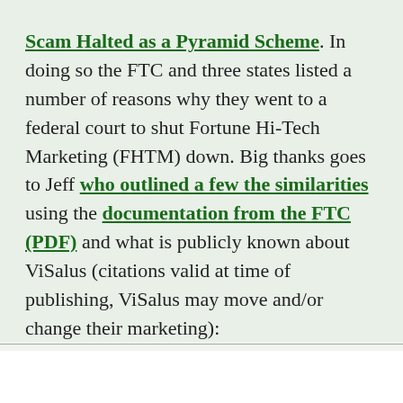Scam Halted as a Pyramid Scheme. In doing so the FTC and three states listed a number of reasons why they went to a federal court to shut Fortune Hi-Tech Marketing (FHTM) down. Big thanks goes to Jeff who outlined a few the similarities using the documentation from the FTC (PDF) and what is publicly known about ViSalus (citations valid at time of publishing, ViSalus may move and/or change their marketing):